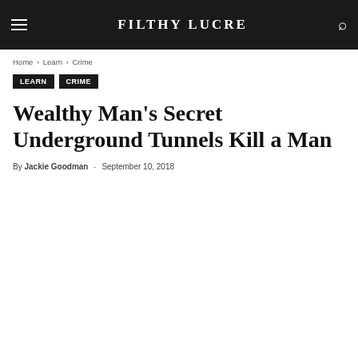FILTHY LUCRE
Home › Learn › Crime
Learn
Crime
Wealthy Man's Secret Underground Tunnels Kill a Man
By Jackie Goodman - September 10, 2018